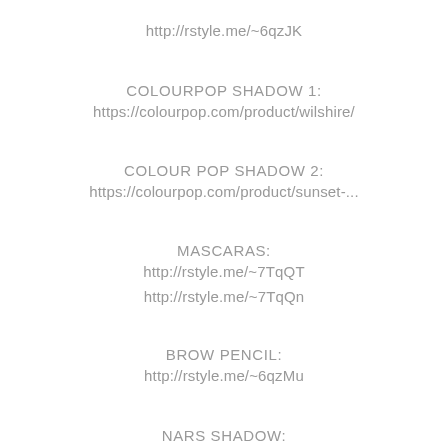http://rstyle.me/~6qzJK
COLOURPOP SHADOW 1:
https://colourpop.com/product/wilshire/
COLOUR POP SHADOW 2:
https://colourpop.com/product/sunset-...
MASCARAS:
http://rstyle.me/~7TqQT
http://rstyle.me/~7TqQn
BROW PENCIL:
http://rstyle.me/~6qzMu
NARS SHADOW: